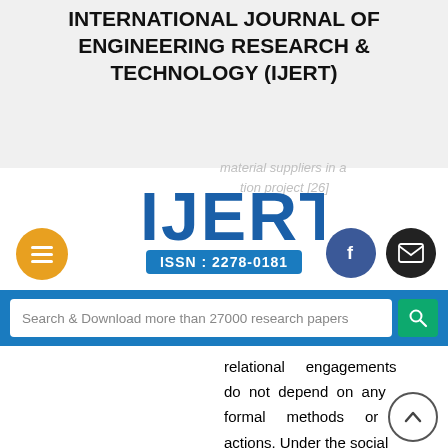INTERNATIONAL JOURNAL OF ENGINEERING RESEARCH & TECHNOLOGY (IJERT)
[Figure (logo): IJERT logo with ISSN: 2278-0181]
[Figure (infographic): Search bar: Search & Download more than 27000 research papers]
relational engagements do not depend on any formal methods or actions. Under the social network theory, acquaintances are unknown individuals, and these are met by chance. Once an individual